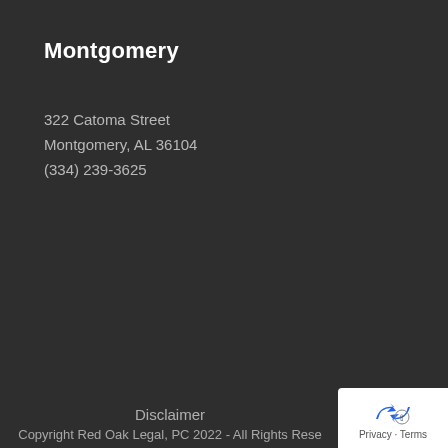Montgomery
322 Catoma Street
Montgomery, AL 36104
(334) 239-3625
Disclaimer
Copyright Red Oak Legal, PC 2022 - All Rights Reserved
[Figure (logo): Privacy & Terms badge with blue arrow icon]